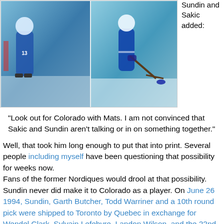[Figure (photo): Two hockey photos side by side: left shows a player in blue uniform near goal, right shows a player with a hockey stick and puck on ice.]
Sundin and Sakic added:
"Look out for Colorado with Mats. I am not convinced that Sakic and Sundin aren't talking or in on something together."
Well, that took him long enough to put that into print. Several people including myself have been questioning that possibility for weeks now.
Fans of the former Nordiques would drool at that possibility. Sundin never did make it to Colorado as a player. On June 26 1994, Sundin, Garth Butcher, Todd Warriner and a 10th round pick were shipped to Toronto by Quebec in exchange for Wendel Clark, Sylvain Lefebvre, Landon Wilson, and the 22nd overall pick in 1994 (pick turned out to be a bum.) Just under a year later, the Nordiques died and moved to Colorado in 1995.
As you know, the Avs won the Cup the following year in 1996, with only Sylvain Lefebvre (from the Sundin trade).